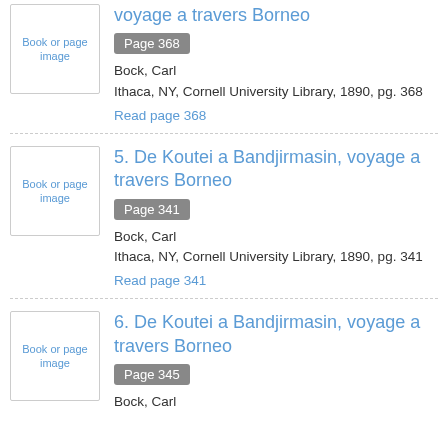[Figure (other): Book or page image thumbnail placeholder]
voyage a travers Borneo
Page 368
Bock, Carl
Ithaca, NY, Cornell University Library, 1890, pg. 368
Read page 368
[Figure (other): Book or page image thumbnail placeholder]
5. De Koutei a Bandjirmasin, voyage a travers Borneo
Page 341
Bock, Carl
Ithaca, NY, Cornell University Library, 1890, pg. 341
Read page 341
[Figure (other): Book or page image thumbnail placeholder]
6. De Koutei a Bandjirmasin, voyage a travers Borneo
Page 345
Bock, Carl